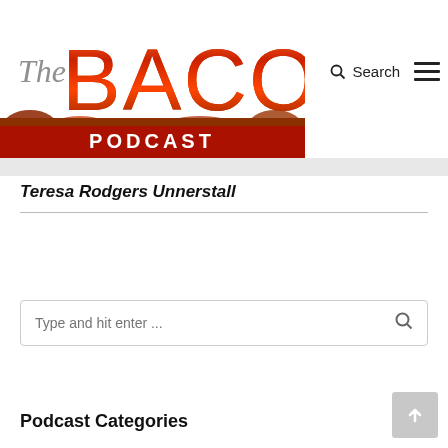[Figure (logo): The Bacon Podcast logo with large stylized 'BACON' text in bacon-strip lettering above a red bar reading 'PODCAST'. The word 'The' appears in grey italic to the left of BACON.]
Search
Teresa Rodgers Unnerstall
Type and hit enter ...
Podcast Categories